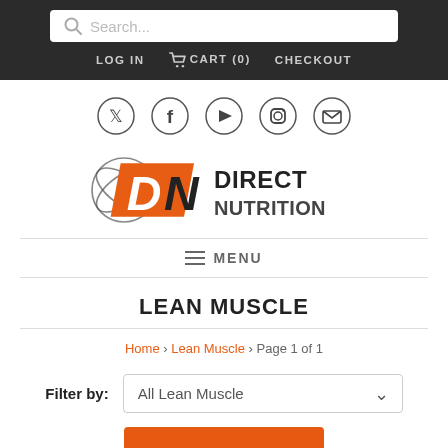[Figure (screenshot): Search bar with magnifying glass icon and placeholder text 'Search...' on dark background]
LOG IN  CART (0)  CHECKOUT
[Figure (logo): Social media icons: Twitter, Facebook, YouTube, Instagram, Email — each in a circle]
[Figure (logo): DN Direct Nutrition logo — orange and black stylized lettering with orbiting graphic]
≡ MENU
LEAN MUSCLE
Home › Lean Muscle › Page 1 of 1
Filter by: All Lean Muscle